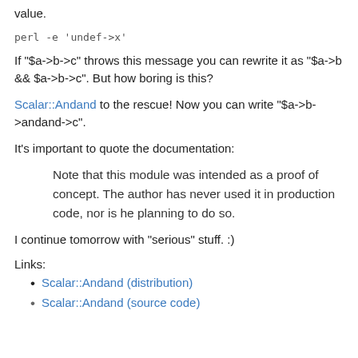value.
perl -e 'undef->x'
If "$a->b->c" throws this message you can rewrite it as "$a->b && $a->b->c". But how boring is this?
Scalar::Andand to the rescue! Now you can write "$a->b->andand->c".
It's important to quote the documentation:
Note that this module was intended as a proof of concept. The author has never used it in production code, nor is he planning to do so.
I continue tomorrow with "serious" stuff. :)
Links:
Scalar::Andand (distribution)
(partial, cut off)